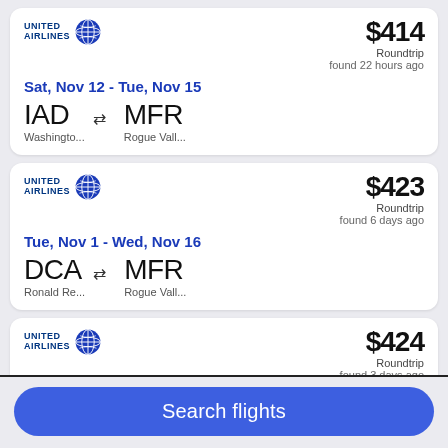[Figure (screenshot): Flight search results card 1: United Airlines, $414 Roundtrip found 22 hours ago. Sat, Nov 12 - Tue, Nov 15. IAD (Washingto...) ↔ MFR (Rogue Vall...)]
[Figure (screenshot): Flight search results card 2: United Airlines, $423 Roundtrip found 6 days ago. Tue, Nov 1 - Wed, Nov 16. DCA (Ronald Re...) ↔ MFR (Rogue Vall...)]
[Figure (screenshot): Flight search results card 3: United Airlines, $424 Roundtrip found 3 days ago. Partial card visible.]
Search flights